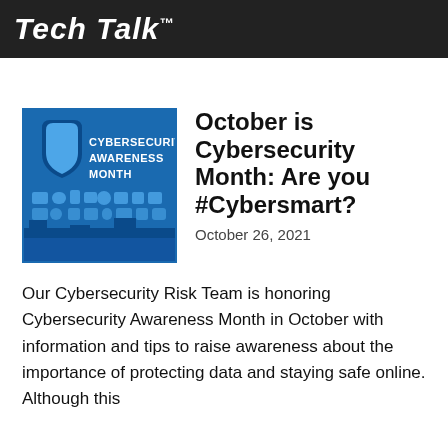Tech Talk™
[Figure (illustration): Cybersecurity Awareness Month logo with blue shield and icons of connected devices]
October is Cybersecurity Month: Are you #Cybersmart?
October 26, 2021
Our Cybersecurity Risk Team is honoring Cybersecurity Awareness Month in October with information and tips to raise awareness about the importance of protecting data and staying safe online. Although this